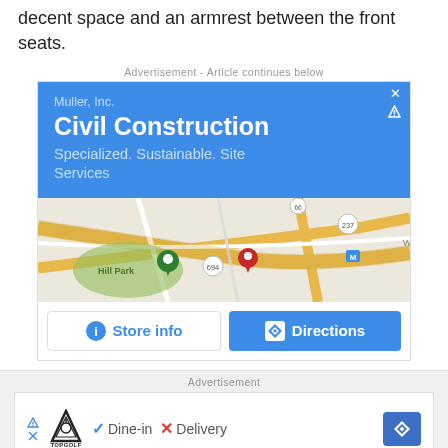decent space and an armrest between the front seats.
Advertisement - Article continues below
[Figure (screenshot): Google local ad for Muller, Inc. Civil Construction with map showing Hill Park area and Store info / Directions buttons]
Advertisement
[Figure (screenshot): TopGolf ad with Dine-in checkmark and Delivery X mark, with directions button]